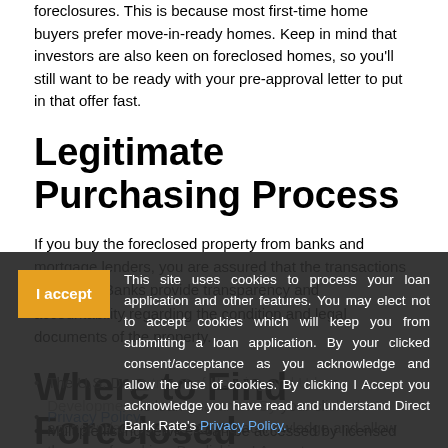foreclosures. This is because most first-time home buyers prefer move-in-ready homes. Keep in mind that investors are also keen on foreclosed homes, so you'll still want to be ready with your pre-approval letter to put in that offer fast.
Legitimate Purchasing Process
If you buy the foreclosed property from banks and mortgage lenders, you are assured that the transactions are clean. Banks provide transparency and accountability regarding the condition and legal documents of the property.
Where to Find Foreclosed Homes
The U.S. Department of Housing and Urban Development is loan guarantor. By your clicked consent/acceptance as you acknowledge and allow the use of cookies.
Banks show lists of foreclosed homes on their sites
Multiple listing services can be accessed by licensed real estate agents in your area.
This site uses cookies to process your loan application and other features. You may elect not to accept cookies which will keep you from submitting a loan application. By your clicked consent/acceptance as you acknowledge and allow the use of cookies. By clicking I Accept you acknowledge you have read and understand Direct Bank Rate's Privacy Policy.